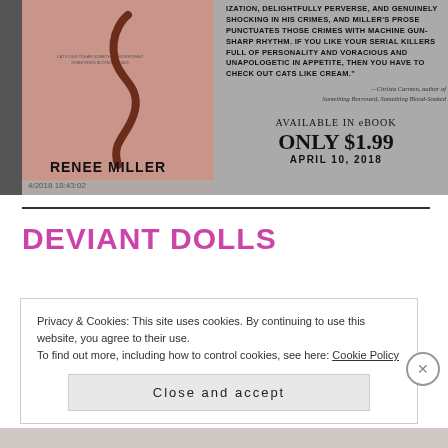[Figure (illustration): Book promotional image showing a book cover by Renee Miller with a decorative hair curl graphic on a pink/mauve background, alongside promotional text: blurb quote about serial killers and prose, attribution to Christa Carmen, and 'Available in eBook Only $1.99 April 10, 2018'. Timestamp visible: 4/2018 18:43:02.]
DEVIANT DOLLS
Privacy & Cookies: This site uses cookies. By continuing to use this website, you agree to their use.
To find out more, including how to control cookies, see here: Cookie Policy
Close and accept